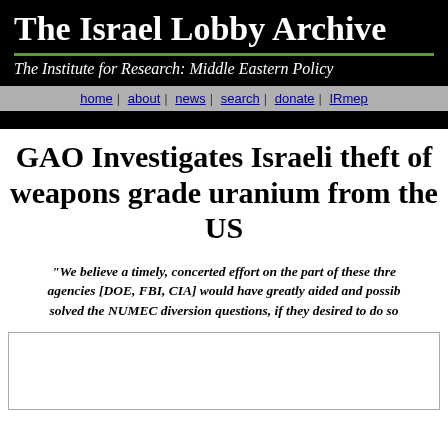The Israel Lobby Archive
The Institute for Research: Middle Eastern Policy
home | about | news | search | donate | IRmep
GAO Investigates Israeli theft of weapons grade uranium from the US
"We believe a timely, concerted effort on the part of these three agencies [DOE, FBI, CIA] would have greatly aided and possibly solved the NUMEC diversion questions, if they desired to do so"